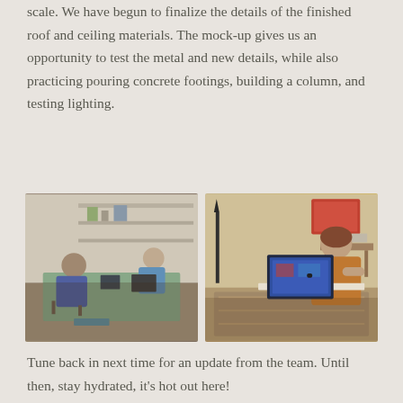scale. We have begun to finalize the details of the finished roof and ceiling materials. The mock-up gives us an opportunity to test the metal and new details, while also practicing pouring concrete footings, building a column, and testing lighting.
[Figure (photo): Two people sitting at a green table in a workshop/studio space with shelving and equipment in the background, working on laptops.]
[Figure (photo): A person seen from behind working on a laptop computer in a home living room setting with warm lighting, a floor lamp, and decorative rug.]
Tune back in next time for an update from the team. Until then, stay hydrated, it's hot out here!